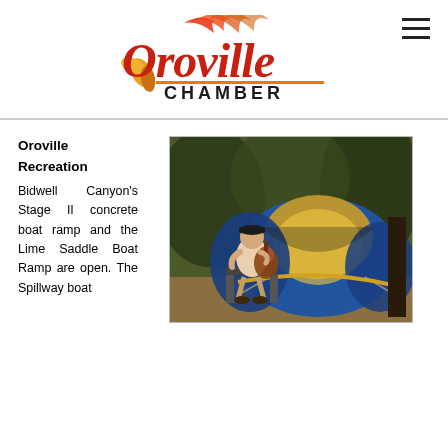Oroville Chamber
Oroville Recreation
Bidwell Canyon's Stage II concrete boat ramp and the Lime Saddle Boat Ramp are open. The Spillway boat
[Figure (photo): Man sitting in a camping chair playing guitar in front of a blue and yellow dome tent in a wooded outdoor setting]